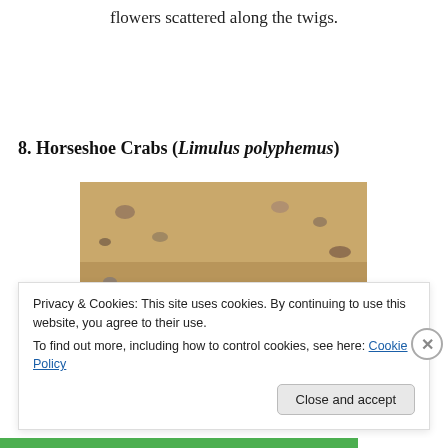flowers scattered along the twigs.
8. Horseshoe Crabs (Limulus polyphemus)
[Figure (photo): Photo of horseshoe crabs on sandy beach with shells and debris]
Privacy & Cookies: This site uses cookies. By continuing to use this website, you agree to their use.
To find out more, including how to control cookies, see here: Cookie Policy